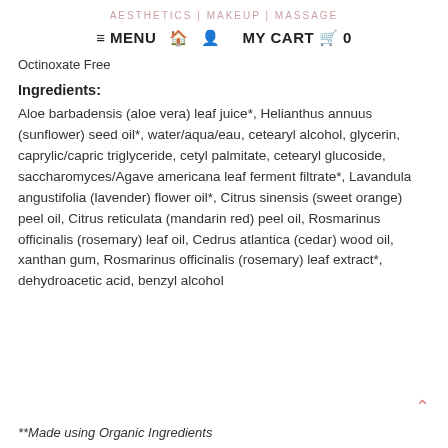AESTHETICS | MAKEUP | MASSAGE
≡ MENU  🏠  👤  MY CART  🛒  0
Octinoxate Free
Ingredients:
Aloe barbadensis (aloe vera) leaf juice*, Helianthus annuus (sunflower) seed oil*, water/aqua/eau, cetearyl alcohol, glycerin, caprylic/capric triglyceride, cetyl palmitate, cetearyl glucoside, saccharomyces/Agave americana leaf ferment filtrate*, Lavandula angustifolia (lavender) flower oil*, Citrus sinensis (sweet orange) peel oil, Citrus reticulata (mandarin red) peel oil, Rosmarinus officinalis (rosemary) leaf oil, Cedrus atlantica (cedar) wood oil, xanthan gum, Rosmarinus officinalis (rosemary) leaf extract*, dehydroacetic acid, benzyl alcohol
**Made using Organic Ingredients